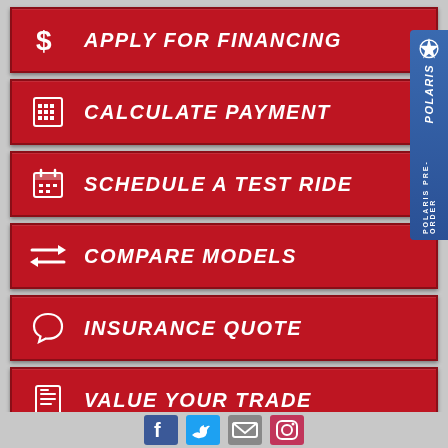APPLY FOR FINANCING
CALCULATE PAYMENT
SCHEDULE A TEST RIDE
COMPARE MODELS
INSURANCE QUOTE
VALUE YOUR TRADE
[Figure (logo): Polaris Pre-Order sidebar logo badge in blue]
[Figure (infographic): Social media icons: Facebook, Twitter, email/envelope, Instagram at bottom]